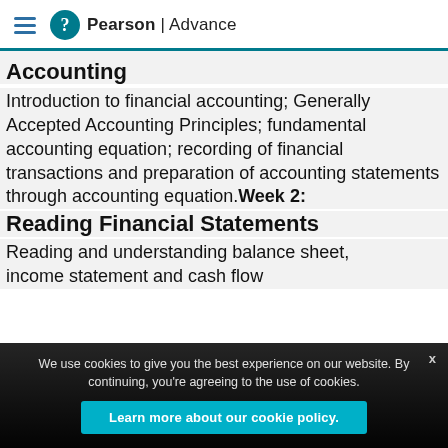Pearson | Advance
Accounting
Introduction to financial accounting; Generally Accepted Accounting Principles; fundamental accounting equation; recording of financial transactions and preparation of accounting statements through accounting equation. Week 2: Reading Financial Statements
Reading and understanding balance sheet, income statement and cash flow
We use cookies to give you the best experience on our website. By continuing, you're agreeing to the use of cookies.
Learn more about our cookie policy.